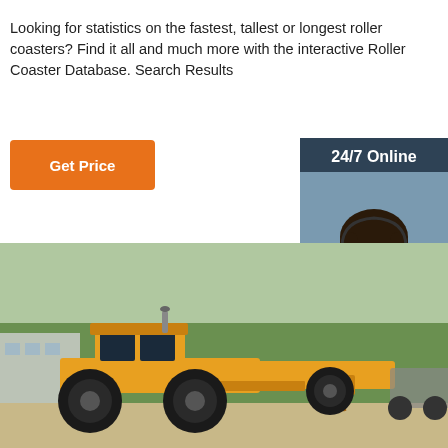Looking for statistics on the fastest, tallest or longest roller coasters? Find it all and much more with the interactive Roller Coaster Database. Search Results
[Figure (other): Orange 'Get Price' button]
[Figure (other): 24/7 Online chat sidebar with photo of woman wearing headset, 'Click here for free chat!' text, and orange QUOTATION button]
[Figure (photo): Yellow motor grader construction machine parked outdoors with trees in background]